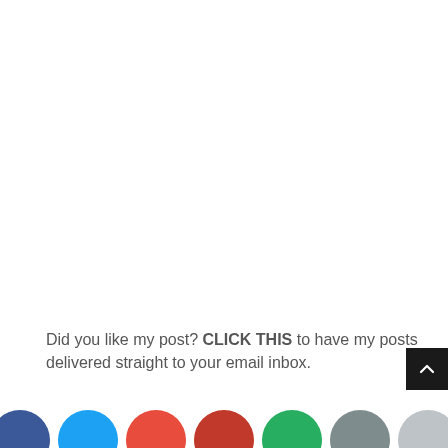Did you like my post? CLICK THIS to have my posts delivered straight to your email inbox.
[Figure (other): A row of colored circular social share buttons (blue, cyan, red, dark red, green, gray, light gray) partially visible at the bottom of the page]